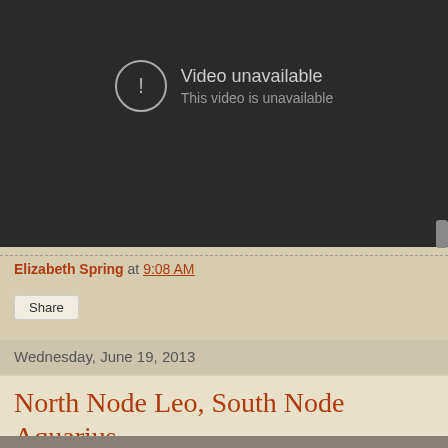[Figure (screenshot): Dark video player area showing 'Video unavailable / This video is unavailable' message with a circle exclamation icon]
Elizabeth Spring at 9:08 AM
Share
Wednesday, June 19, 2013
North Node Leo, South Node Aquarius